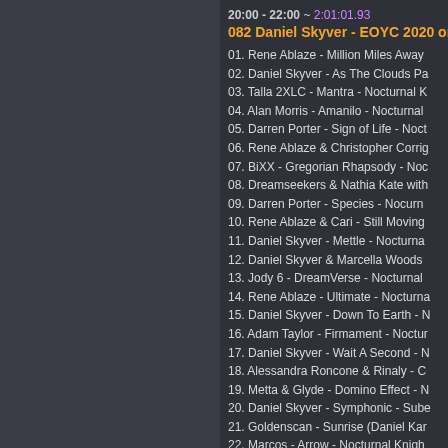20:00 - 22:00 ~ 2:01:01.93
082 Daniel Skyver - EOYC 2020 on
01. Rene Ablaze - Million Miles Away
02. Daniel Skyver - As The Clouds Pa
03. Talla 2XLC - Mantra - Nocturnal K
04. Alan Morris - Amanilo - Nocturnal
05. Darren Porter - Sign of Life - Noct
06. Rene Ablaze & Christopher Corrig
07. BiXX - Gregorian Rhapsody - Noc
08. Dreamseekers & Nathia Kate with
09. Darren Porter - Species - Noctur
10. Rene Ablaze & Cari - Still Moving
11. Daniel Skyver - Mettle - Nocturna
12. Daniel Skyver & Marcella Woods
13. Jody 6 - DreamVerse - Nocturnal
14. Rene Ablaze - Ultimate - Nocturna
15. Daniel Skyver - Down To Earth - N
16. Adam Taylor - Firmament - Noctur
17. Daniel Skyver - Wait A Second - N
18. Alessandra Roncone & Rinaly - C
19. Metta & Glyde - Domino Effect - N
20. Daniel Skyver - Symphonic - Sube
21. Goldenscan - Sunrise (Daniel Kar
22. Marcos - Arrow - Nocturnal Knigh
23. Daniel Skyver - Stay Close - Subc
24. Alex Wright & EverLight - Warp Ri
25. EverLight - Hyperdrive - Nocturna